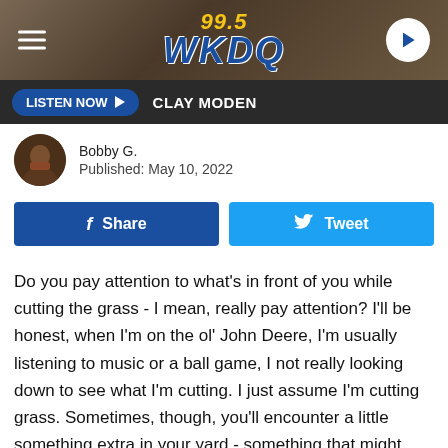99.5 WKDQ
LISTEN NOW  CLAY MODEN
Bobby G.
Published: May 10, 2022
Share  Tweet
Do you pay attention to what's in front of you while cutting the grass - I mean, really pay attention? I'll be honest, when I'm on the ol' John Deere, I'm usually listening to music or a ball game, I not really looking down to see what I'm cutting. I just assume I'm cutting grass. Sometimes, though, you'll encounter a little something extra in your yard - something that might make you stop and take a closer look. Beth Wilcox, from Wabash County, IN, was cutting her grass when she noticed this alien-looking insect in her grass. We know